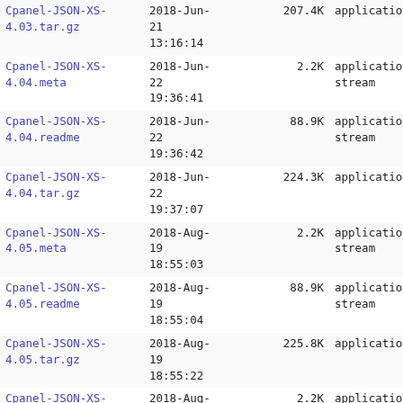| Name | Date | Size | Type |
| --- | --- | --- | --- |
| Cpanel-JSON-XS-4.03.tar.gz | 2018-Jun-21 13:16:14 | 207.4K | application/gzip |
| Cpanel-JSON-XS-4.04.meta | 2018-Jun-22 19:36:41 | 2.2K | application/octet-stream |
| Cpanel-JSON-XS-4.04.readme | 2018-Jun-22 19:36:42 | 88.9K | application/octet-stream |
| Cpanel-JSON-XS-4.04.tar.gz | 2018-Jun-22 19:37:07 | 224.3K | application/gzip |
| Cpanel-JSON-XS-4.05.meta | 2018-Aug-19 18:55:03 | 2.2K | application/octet-stream |
| Cpanel-JSON-XS-4.05.readme | 2018-Aug-19 18:55:04 | 88.9K | application/octet-stream |
| Cpanel-JSON-XS-4.05.tar.gz | 2018-Aug-19 18:55:22 | 225.8K | application/gzip |
| Cpanel-JSON-XS-4.06.meta | 2018-Aug-23 09:49:54 | 2.2K | application/octet-stream |
| Cpanel-JSON-XS-4.06.readme | 2018-Aug-23 09:49:56 | 89.1K | application/octet-stream |
| Cpanel-JSON-XS-4.06.tar.gz | 2018-Aug-23 09:50:22 | 226.2K | application/gzip |
| Cpanel-JSON-XS-4.07.meta | 2018-Nov-02 10:50:32 | 2.2K | application/octet-stream |